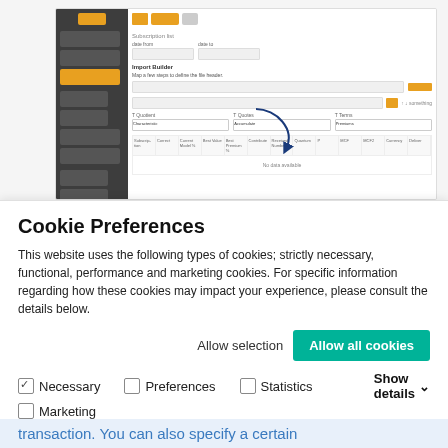[Figure (screenshot): Screenshot of a web application interface showing a dark sidebar navigation, orange top bar buttons, form fields with dropdowns labeled T Quotient, T Quotes, T Terms, a data table with multiple columns, and an arrow annotation pointing to a table cell.]
Cookie Preferences
This website uses the following types of cookies; strictly necessary, functional, performance and marketing cookies. For specific information regarding how these cookies may impact your experience, please consult the details below.
Allow selection  Allow all cookies
Necessary  Preferences  Statistics  Show details  Marketing
transaction. You can also specify a certain